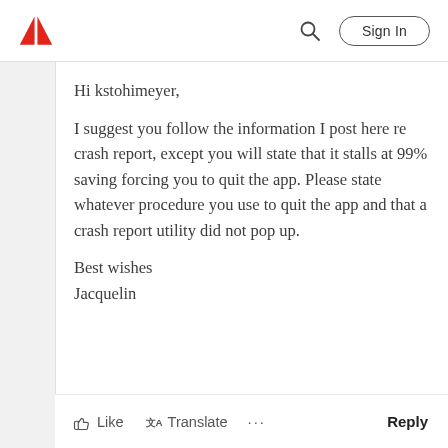Adobe | Sign In
Hi kstohimeyer,
I suggest you follow the information I post here re crash report, except you will state that it stalls at 99% saving forcing you to quit the app. Please state whatever procedure you use to quit the app and that a crash report utility did not pop up.

Best wishes
Jacquelin
Like  Translate  ...  Reply